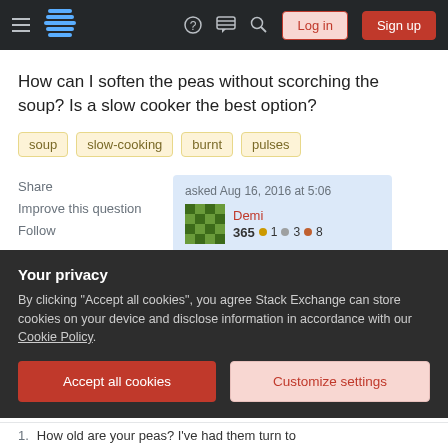Stack Exchange navigation bar with hamburger menu, logo, help, chat, search icons, Log in and Sign up buttons
How can I soften the peas without scorching the soup? Is a slow cooker the best option?
soup
slow-cooking
burnt
pulses
Share  Improve this question  Follow
asked Aug 16, 2016 at 5:06
Demi
365 ●1 ●3 ●8
What do you mean by "soften"? Is it the same process
Your privacy
By clicking "Accept all cookies", you agree Stack Exchange can store cookies on your device and disclose information in accordance with our Cookie Policy.
Accept all cookies  Customize settings
1.  How old are your peas? I've had them turn to